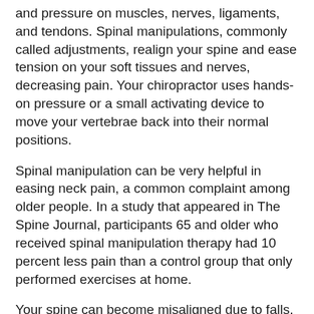and pressure on muscles, nerves, ligaments, and tendons. Spinal manipulations, commonly called adjustments, realign your spine and ease tension on your soft tissues and nerves, decreasing pain. Your chiropractor uses hands-on pressure or a small activating device to move your vertebrae back into their normal positions.
Spinal manipulation can be very helpful in easing neck pain, a common complaint among older people. In a study that appeared in The Spine Journal, participants 65 and older who received spinal manipulation therapy had 10 percent less pain than a control group that only performed exercises at home.
Your spine can become misaligned due to falls, posture issues, poor exercise techniques, and even stress. When you see your chiropractor on a regular basis, misalignments can be quickly corrected before they trigger painful inflammation. If you're currently taking pain medication for arthritis or another condition, you may be able to stop taking it or reduce your dosage thanks to regular chiropractic treatments.
Chiropractic Treatment Helps You Remain Active
Staying active is essential for your good health. Regular